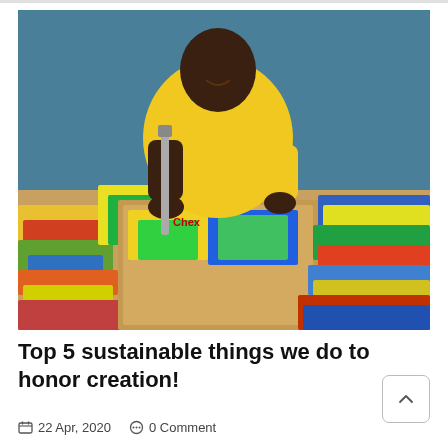[Figure (photo): A man in a yellow t-shirt sitting behind a table covered in colorful paper/cardboard material and stacked publications, holding a cutting tool, with a blue-green wall behind him. A paper trimmer/cutter is on the table.]
Top 5 sustainable things we do to honor creation!
22 Apr, 2020   0 Comment